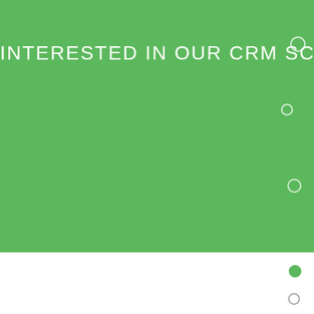INTERESTED IN OUR CRM SC
[Figure (photo): Business person in a suit with hands clasped, sitting at a desk. Background is blurred grey/white office setting. A grey chat button with speech bubble icon is visible in the bottom right corner.]